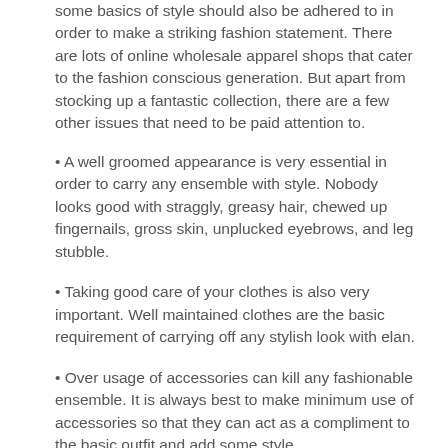some basics of style should also be adhered to in order to make a striking fashion statement. There are lots of online wholesale apparel shops that cater to the fashion conscious generation. But apart from stocking up a fantastic collection, there are a few other issues that need to be paid attention to.
• A well groomed appearance is very essential in order to carry any ensemble with style. Nobody looks good with straggly, greasy hair, chewed up fingernails, gross skin, unplucked eyebrows, and leg stubble.
• Taking good care of your clothes is also very important. Well maintained clothes are the basic requirement of carrying off any stylish look with elan.
• Over usage of accessories can kill any fashionable ensemble. It is always best to make minimum use of accessories so that they can act as a compliment to the basic outfit and add some style.
• Try to choose outfits based on which colors and styles